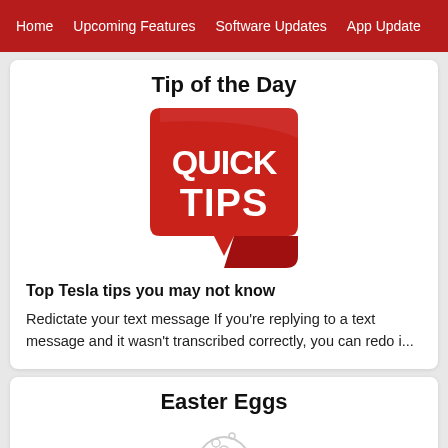Home | Upcoming Features | Software Updates | App Update
Tip of the Day
[Figure (logo): Red speech-bubble shaped icon with white bold text reading QUICK TIPS]
Top Tesla tips you may not know
Redictate your text message If you're replying to a text message and it wasn't transcribed correctly, you can redo i...
Easter Eggs
[Figure (illustration): Partial grey egg icon at bottom of page]